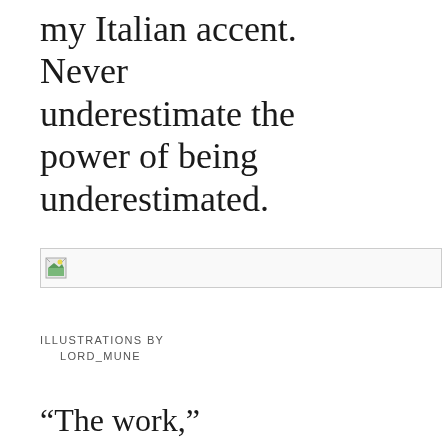my Italian accent. Never underestimate the power of being underestimated.
[Figure (illustration): Broken/missing image placeholder with small icon]
ILLUSTRATIONS BY
    LORD_MUNE
“The work,”